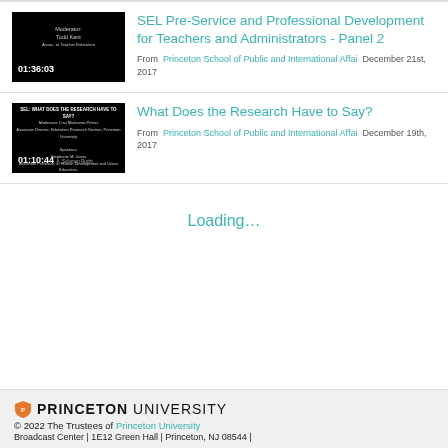[Figure (screenshot): Video thumbnail for SEL Pre-Service panel 2 showing black screen with moderator info and timestamp 01:36:03]
SEL Pre-Service and Professional Development for Teachers and Administrators - Panel 2
From Princeton School of Public and International Affai December 21st, 2017
[Figure (screenshot): Video thumbnail for What Does the Research Have to Say showing SEL panel title card with speakers and timestamp 01:10:44]
What Does the Research Have to Say?
From Princeton School of Public and International Affai December 19th, 2017
Loading…
PRINCETON UNIVERSITY © 2022 The Trustees of Princeton University Broadcast Center | 1E12 Green Hall | Princeton, NJ 08544 |